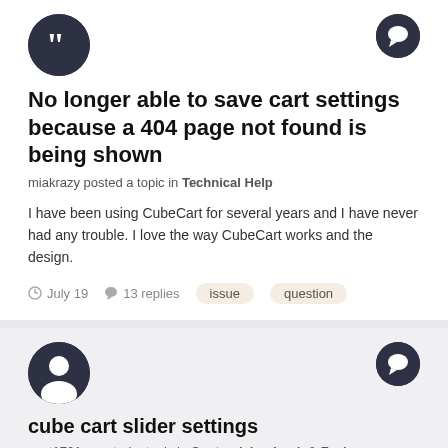[Figure (illustration): User avatar with quotation mark icon, dark circle with white double-quote symbol]
[Figure (illustration): Comment/chat bubble icon, dark circle with white speech bubble]
No longer able to save cart settings because a 404 page not found is being shown
miakrazy posted a topic in Technical Help
I have been using CubeCart for several years and I have never had any trouble. I love the way CubeCart works and the design.
July 19   13 replies   issue   question
[Figure (illustration): User avatar, dark circle with white person/profile silhouette]
[Figure (illustration): Comment/chat bubble icon, dark circle with white speech bubble]
cube cart slider settings
capt1701a posted a topic in Customising Look & Feel
Hi, Cube cart version 6.4.4 It has been a while since I have changed the default slider in cube cart, but I cannot find any